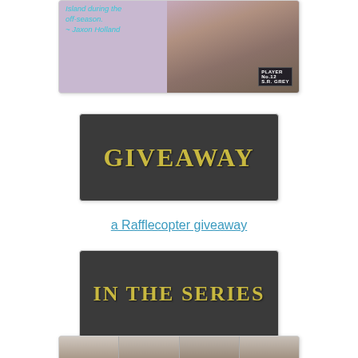[Figure (photo): Book cover image for 'Player No. 12' by S.R. Grey showing a shirtless male model with quote text: 'Island during the off-season. ~ Jaxon Holland' in teal text on left side and PLAYER branding bottom right]
[Figure (other): Dark grey banner image with gold/yellow serif text reading GIVEAWAY]
a Rafflecopter giveaway
[Figure (other): Dark grey banner image with gold/yellow serif text reading IN THE SERIES]
[Figure (photo): Series collage image showing multiple book covers in black and white with male models]